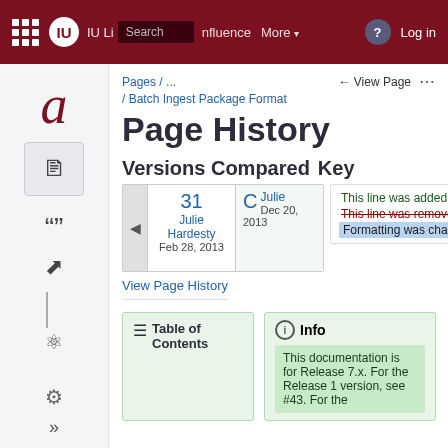IU Libraries Confluence | Search | More | Log in
Pages / ...
/ Batch Ingest Package Format
Page History
Versions Compared   Key
| Version | Author | Date |
| --- | --- | --- |
| 31 | Julie Hardesty | Feb 28, 2013 |
| C | Julie | Dec 20, 2013 |
This line was added.
This line was removed.
Formatting was changed.
View Page History
Table of Contents
Info
This documentation is for Release 7.x. For the Release 1 version, see #43. For the